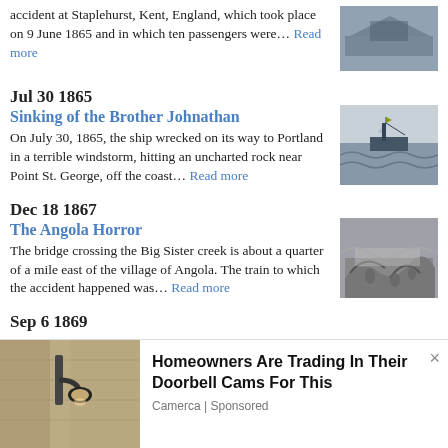accident at Staplehurst, Kent, England, which took place on 9 June 1865 and in which ten passengers were… Read more
Jul 30 1865
Sinking of the Brother Johnathan
On July 30, 1865, the ship wrecked on its way to Portland in a terrible windstorm, hitting an uncharted rock near Point St. George, off the coast… Read more
[Figure (photo): Historical engraving of a ship in a storm at sea]
Dec 18 1867
The Angola Horror
The bridge crossing the Big Sister creek is about a quarter of a mile east of the village of Angola. The train to which the accident happened was… Read more
[Figure (photo): Historical engraving of a train accident scene]
Sep 6 1869
[Figure (photo): Photo of outdoor wall lamp/light fixture]
Homeowners Are Trading In Their Doorbell Cams For This
Camerca | Sponsored